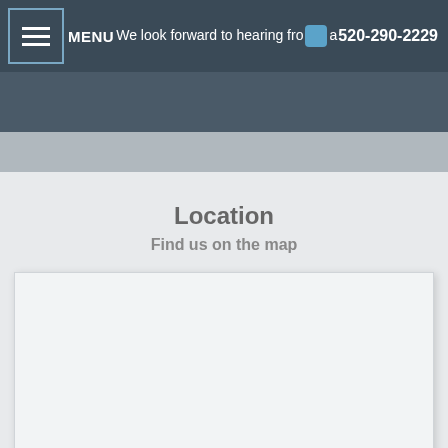MENU  We look forward to hearing from you.  520-290-2229
Location
Find us on the map
[Figure (map): Blank/loading map embed area]